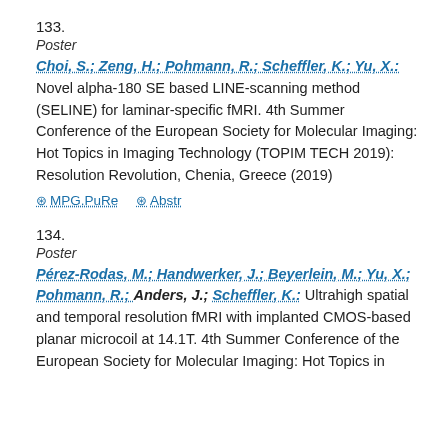133.
Poster
Choi, S.; Zeng, H.; Pohmann, R.; Scheffler, K.; Yu, X.: Novel alpha-180 SE based LINE-scanning method (SELINE) for laminar-specific fMRI. 4th Summer Conference of the European Society for Molecular Imaging: Hot Topics in Imaging Technology (TOPIM TECH 2019): Resolution Revolution, Chenia, Greece (2019)
⊘ MPG.PuRe   ⊘ Abstr
134.
Poster
Pérez-Rodas, M.; Handwerker, J.; Beyerlein, M.; Yu, X.; Pohmann, R.; Anders, J.; Scheffler, K.: Ultrahigh spatial and temporal resolution fMRI with implanted CMOS-based planar microcoil at 14.1T. 4th Summer Conference of the European Society for Molecular Imaging: Hot Topics in